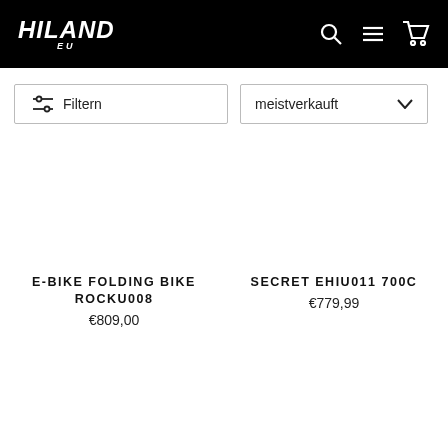HILAND EU
Filtern
meistverkauft
E-BIKE FOLDING BIKE ROCKU008
€809,00
SECRET EHIU011 700C
€779,99